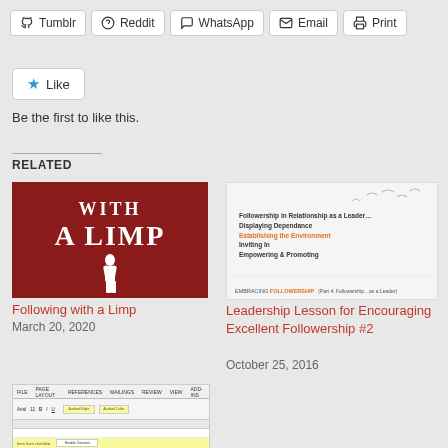[Figure (screenshot): Share buttons row: Tumblr, Reddit, WhatsApp, Email, Print]
[Figure (screenshot): Like button widget with star icon]
Be the first to like this.
RELATED
[Figure (illustration): Book cover image with red background and text WITH A LIMP and white silhouette figure]
Following with a Limp
March 20, 2020
[Figure (screenshot): Presentation slide about Followership in Relationship as a Leader - Displaying Dependance, Establishing the Environment, Inviting In, Empowering & Promoting]
Leadership Lesson for Encouraging Excellent Followership #2
October 25, 2016
[Figure (screenshot): Partial screenshot of Microsoft Word document interface]